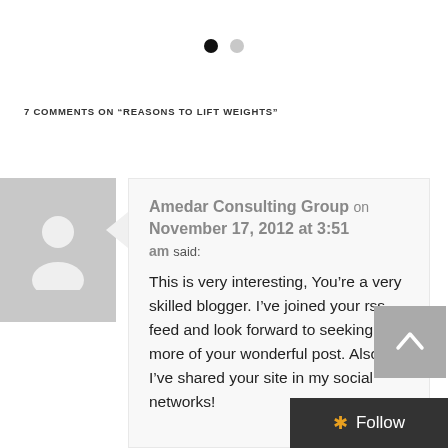[Figure (other): Pagination dots: one filled black circle and one empty grey circle]
7 COMMENTS ON "REASONS TO LIFT WEIGHTS"
[Figure (other): Grey avatar placeholder with silhouette of a person]
Amedar Consulting Group on November 17, 2012 at 3:51 am said:
This is very interesting, You're a very skilled blogger. I've joined your rss feed and look forward to seeking more of your wonderful post. Also, I've shared your site in my social networks!